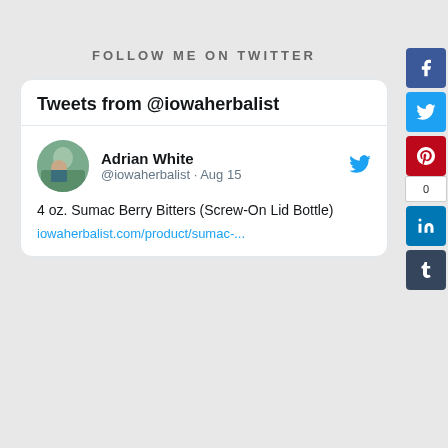FOLLOW ME ON TWITTER
[Figure (screenshot): Twitter widget showing Tweets from @iowaherbalist. A tweet by Adrian White (@iowaherbalist · Aug 15) reads: 4 oz. Sumac Berry Bitters (Screw-On Lid Bottle) iowaherbalist.com/product/sumac-...]
[Figure (infographic): Social media share buttons sidebar: Facebook (blue), Twitter (light blue), Pinterest (red), count box showing 0, LinkedIn (blue), Tumblr (dark blue)]